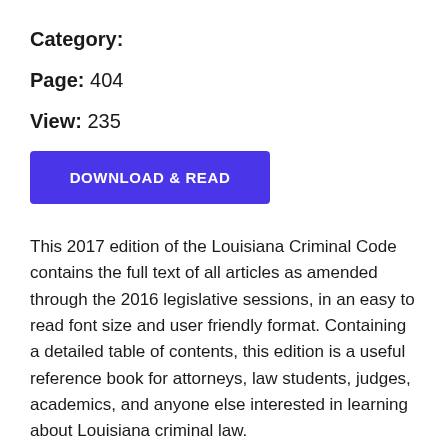Category:
Page: 404
View: 235
[Figure (other): Blue button labeled DOWNLOAD & READ]
This 2017 edition of the Louisiana Criminal Code contains the full text of all articles as amended through the 2016 legislative sessions, in an easy to read font size and user friendly format. Containing a detailed table of contents, this edition is a useful reference book for attorneys, law students, judges, academics, and anyone else interested in learning about Louisiana criminal law.
2016-12-05  /  By Nicholas M. Graphia